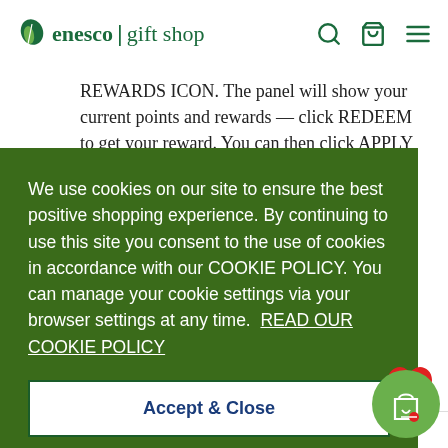[Figure (logo): Enesco gift shop logo with green leaf icon and text]
REWARDS ICON. The panel will show your current points and rewards — click REDEEM to get your reward. You can then click APPLY CODE to apply the £10
We use cookies on our site to ensure the best positive shopping experience. By continuing to use this site you consent to the use of cookies in accordance with our COOKIE POLICY. You can manage your cookie settings via your browser settings at any time.  READ OUR COOKIE POLICY
Accept & Close